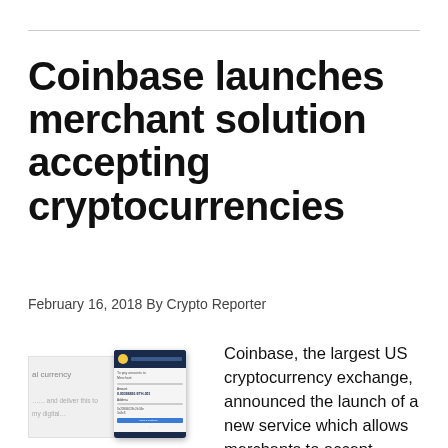Coinbase launches merchant solution accepting cryptocurrencies
February 16, 2018 By Crypto Reporter
[Figure (screenshot): Partial screenshot of a Coinbase merchant payment interface showing UI card with sun logo on dark header and form fields below]
Coinbase, the largest US cryptocurrency exchange, announced the launch of a new service which allows merchants to accept payments in bitcoin, bitcoin